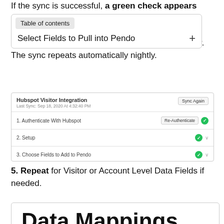If the sync is successful, a green check appears next to manually Sync Again. You should begin to see Hubspot metadata in the Pendo UI in the next hour. The sync repeats automatically nightly.
[Figure (screenshot): Hubspot Visitor Integration UI screenshot showing Sync Again button, Last Sync date, steps: 1. Authenticate With Hubspot (Re-Authenticate, green check), 2. Setup (green check, chevron), 3. Choose Fields to Add to Pendo (green check, chevron)]
5. Repeat for Visitor or Account Level Data Fields if needed.
[Figure (screenshot): Data Mappings section header box partially visible]